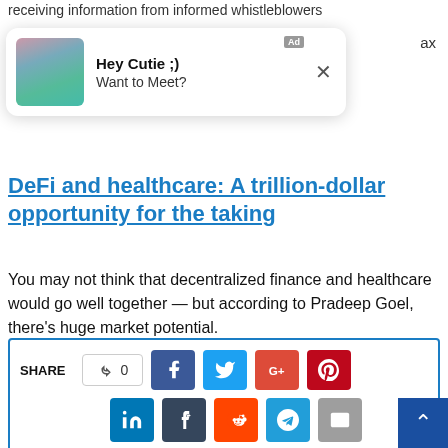receiving information from informed whistleblowers
[Figure (screenshot): Advertisement popup overlay with photo, text 'Hey Cutie ;) Want to Meet?' and close button]
DeFi and healthcare: A trillion-dollar opportunity for the taking
You may not think that decentralized finance and healthcare would go well together — but according to Pradeep Goel, there's huge market potential.
BITCOIN NEWS
BITCOIN UPDATE
BITCOIN UPDATES
BTC NEWS
LATEST BITCOIN NEWS
[Figure (infographic): Share bar with SHARE label, like button with 0, Facebook, Twitter, Google+, Pinterest, LinkedIn, Tumblr, Reddit, Telegram, Email social share buttons]